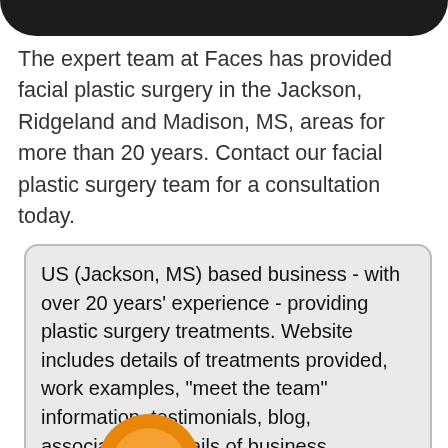[Figure (other): Dark rounded bar at the top of the page, decorative header element]
The expert team at Faces has provided facial plastic surgery in the Jackson, Ridgeland and Madison, MS, areas for more than 20 years. Contact our facial plastic surgery team for a consultation today.
US (Jackson, MS) based business - with over 20 years' experience - providing plastic surgery treatments. Website includes details of treatments provided, work examples, "meet the team" information, testimonials, blog, associations, details of business premises, full contact details.
[Figure (other): Orange/gold icon partially visible at the bottom of the page]